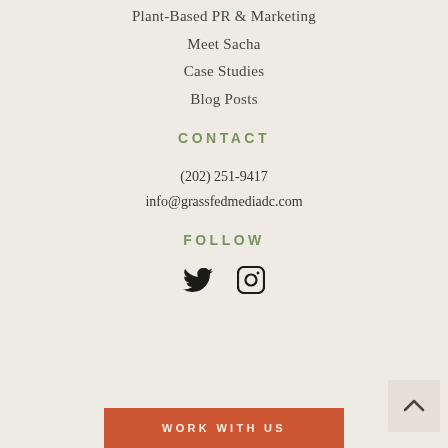Plant-Based PR & Marketing
Meet Sacha
Case Studies
Blog Posts
CONTACT
(202) 251-9417
info@grassfedmediadc.com
FOLLOW
[Figure (other): Twitter and Instagram social media icons]
WORK WITH US